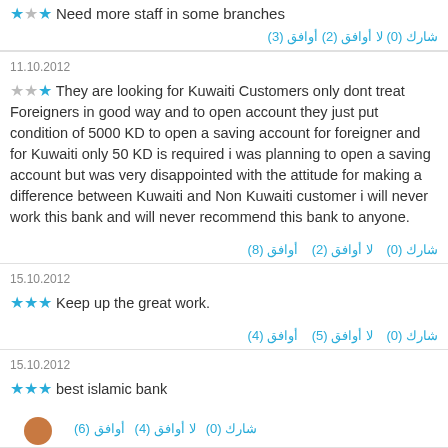★★☆ Need more staff in some branches
أوافق (3)  لا أوافق (2)  شارك (0)
11.10.2012
★★☆ They are looking for Kuwaiti Customers only dont treat Foreigners in good way and to open account they just put condition of 5000 KD to open a saving account for foreigner and for Kuwaiti only 50 KD is required i was planning to open a saving account but was very disappointed with the attitude for making a difference between Kuwaiti and Non Kuwaiti customer i will never work this bank and will never recommend this bank to anyone.
أوافق (8)  لا أوافق (2)  شارك (0)
15.10.2012
★★★ Keep up the great work.
أوافق (4)  لا أوافق (5)  شارك (0)
15.10.2012
★★★ best islamic bank
أوافق (6)  لا أوافق (4)  شارك (0)
16.10.2012